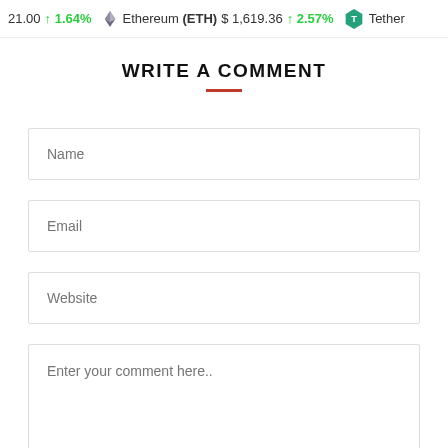21.00 ↑1.64% Ethereum (ETH) $1,619.36 ↑2.57% Tether
WRITE A COMMENT
Name
Email
Website
Enter your comment here..